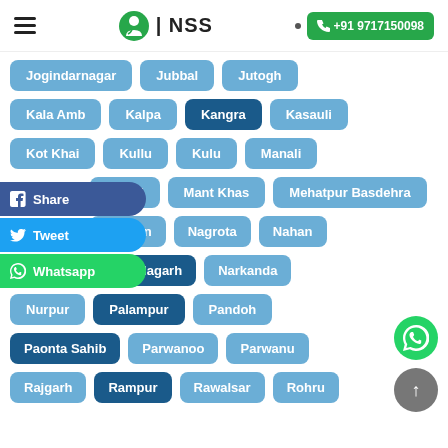NSS | +91 9717150098
Jogindarnagar
Jubbal
Jutogh
Kala Amb
Kalpa
Kangra
Kasauli
Kot Khai
Kullu
Kulu
Manali
Mandi
Mant Khas
Mehatpur Basdehra
Nadaun
Nagrota
Nahan
Naina Devi
Nalagarh
Narkanda
Nurpur
Palampur
Pandoh
Paonta Sahib
Parwanoo
Parwanu
Rajgarh
Rampur
Rawalsar
Rohru